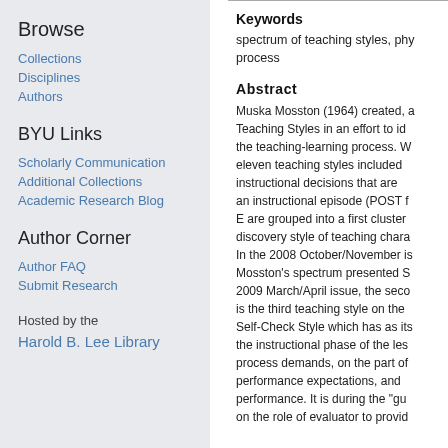Browse
Collections
Disciplines
Authors
BYU Links
Scholarly Communication
Additional Collections
Academic Research Blog
Author Corner
Author FAQ
Submit Research
Hosted by the
Harold B. Lee Library
Keywords
spectrum of teaching styles, phy process
Abstract
Muska Mosston (1964) created, a Teaching Styles in an effort to id the teaching-learning process. W eleven teaching styles included instructional decisions that are an instructional episode (POST f E are grouped into a first cluster discovery style of teaching chara In the 2008 October/November is Mosston's spectrum presented S 2009 March/April issue, the seco is the third teaching style on the Self-Check Style which has as its the instructional phase of the les process demands, on the part of performance expectations, and performance. It is during the "gu on the role of evaluator to provid